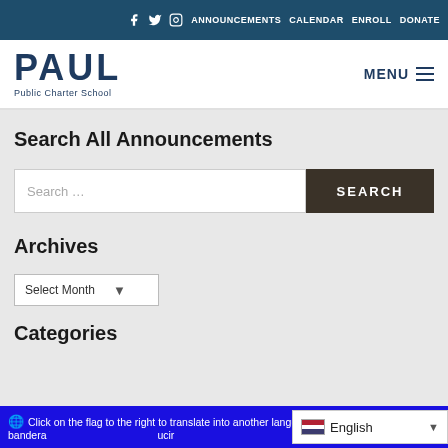f  Twitter  Instagram  ANNOUNCEMENTS  CALENDAR  ENROLL  DONATE
PAUL Public Charter School  MENU
Search All Announcements
Search ...
SEARCH
Archives
Select Month
Categories
Click on the flag to the right to translate into another language! ¡Haga clic en la bandera a la derecha para traducir